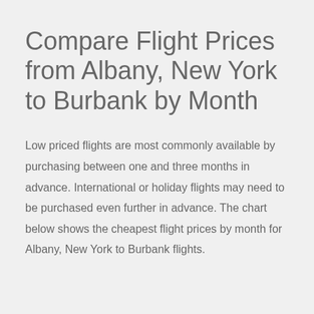Compare Flight Prices from Albany, New York to Burbank by Month
Low priced flights are most commonly available by purchasing between one and three months in advance. International or holiday flights may need to be purchased even further in advance. The chart below shows the cheapest flight prices by month for Albany, New York to Burbank flights.